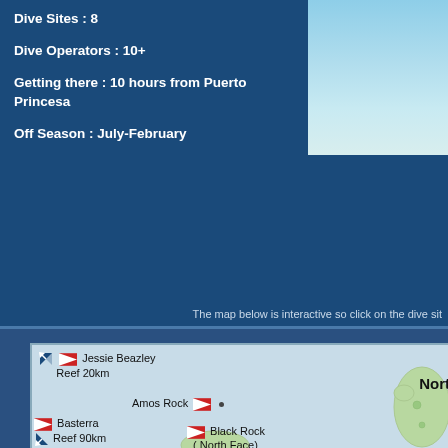Dive Sites : 8
Dive Operators : 10+
Getting there : 10 hours from Puerto Princesa
Off Season : July-February
[Figure (photo): Aerial or beach photo, light blue water and sand]
The map below is interactive so click on the dive sit
[Figure (map): Interactive dive site map showing Jessie Beazley Reef 20km, Amos Rock, Basterra Reef 90km, Black Rock (North Face), and a northern island landmass labeled Nort]